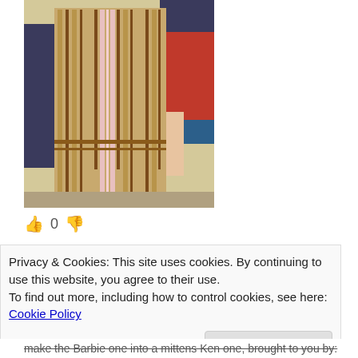[Figure (photo): Person wearing a cardboard box costume decorated to look like a barcode or striped pattern, standing in what appears to be a school or indoor environment. Another person in a red patterned shirt is visible in the background.]
👍 0 👎
Privacy & Cookies: This site uses cookies. By continuing to use this website, you agree to their use.
To find out more, including how to control cookies, see here: Cookie Policy
Close and accept
make the Barbie one into a mittens Ken one, brought to you by: